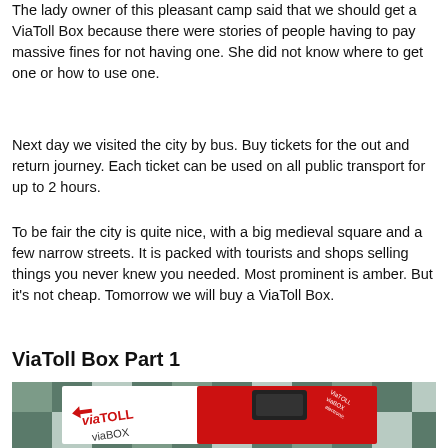The lady owner of this pleasant camp said that we should get a ViaToll Box because there were stories of people having to pay massive fines for not having one. She did not know where to get one or how to use one.
Next day we visited the city by bus. Buy tickets for the out and return journey. Each ticket can be used on all public transport for up to 2 hours.
To be fair the city is quite nice, with a big medieval square and a few narrow streets. It is packed with tourists and shops selling things you never knew you needed. Most prominent is amber. But it's not cheap. Tomorrow we will buy a ViaToll Box.
ViaToll Box Part 1
[Figure (photo): Photo of a ViaToll viaBOX package — a white and red box with the ViaTOLL viaBOX branding, placed on a green and white patterned textile surface.]